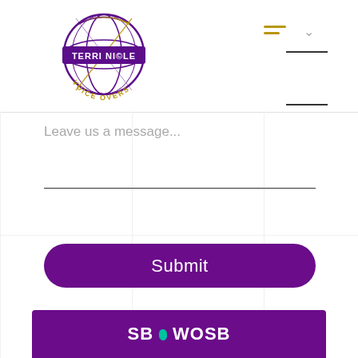[Figure (logo): Terri Nicole Voice Overs logo — a globe with purple and gold gradient colors, text 'TERRI NICOLE' on a purple banner across the center, and 'VOICE OVERS' in gold arc text around the bottom]
Leave us a message...
Submit
[Figure (logo): SBA WOSB logo on a purple background bar at the bottom of the page]